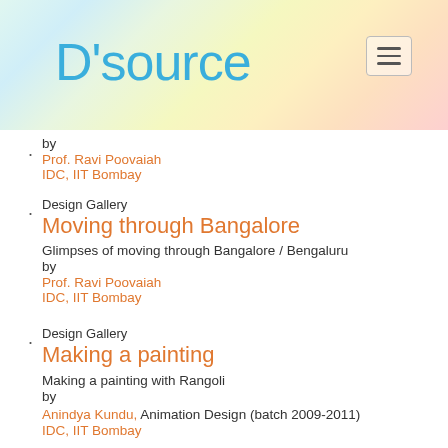D'source
by
Prof. Ravi Poovaiah
IDC, IIT Bombay
Design Gallery
Moving through Bangalore
Glimpses of moving through Bangalore / Bengaluru
by
Prof. Ravi Poovaiah
IDC, IIT Bombay
Design Gallery
Making a painting
Making a painting with Rangoli
by
Anindya Kundu,  Animation Design (batch 2009-2011)
IDC, IIT Bombay
Design Gallery
Clay Model Making
Clay model making for stop-motion animation
by